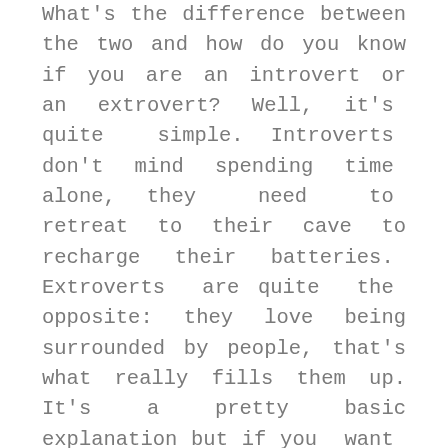What's the difference between the two and how do you know if you are an introvert or an extrovert? Well, it's quite simple. Introverts don't mind spending time alone, they need to retreat to their cave to recharge their batteries. Extroverts are quite the opposite: they love being surrounded by people, that's what really fills them up. It's a pretty basic explanation but if you want to dig deeper, the most famous personality test uses the Myers-Briggs Type Indicator. There are 16 personality types and you can find out which one you are by answering several questions, it's free and it takes roughly 10 minutes. According to this